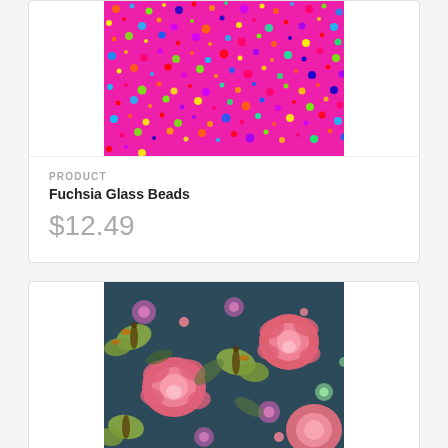[Figure (photo): Fuchsia glass beads fabric pattern — hot pink background densely covered with multicolor circular dots/beads in various sizes, colors include green, blue, red, orange, yellow, purple on a bright fuchsia/magenta background]
PRODUCT
Fuchsia Glass Beads
$12.49
[Figure (photo): Floral and butterfly fabric pattern — dark navy/teal blue background with large pink roses, green/olive butterflies, and small decorative pink and green flowers scattered across the fabric]